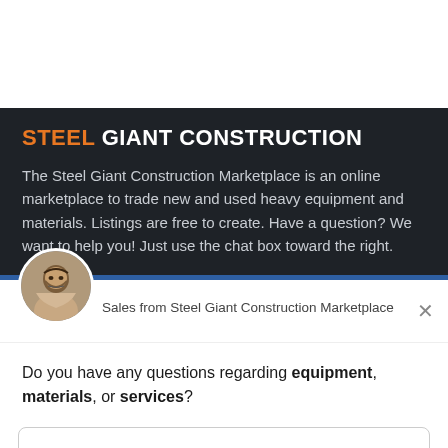STEEL GIANT CONSTRUCTION
The Steel Giant Construction Marketplace is an online marketplace to trade new and used heavy equipment and materials. Listings are free to create. Have a question? We want to help you! Just use the chat box toward the right.
Sales from Steel Giant Construction Marketplace
Do you have any questions regarding equipment, materials, or services?
Reply to Sales
Chat ⚡ by Drift